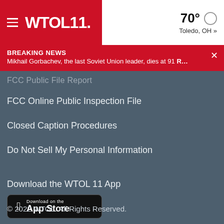WTOL 11 | 70° Toledo, OH »
BREAKING NEWS
Mikhail Gorbachev, the last Soviet Union leader, dies at 91 R...
FCC Public File Report
FCC Online Public Inspection File
Closed Caption Procedures
Do Not Sell My Personal Information
Download the WTOL 11 App
[Figure (logo): Download on the App Store badge]
© 2022 WTOL. All Rights Reserved.